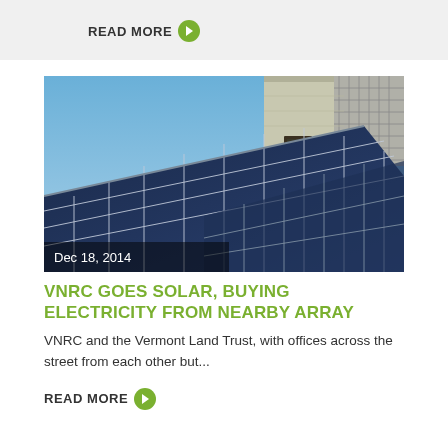READ MORE →
[Figure (photo): Solar panels installed on a building rooftop against a blue sky, with a barn-like structure visible in the background. Date overlay reads Dec 18, 2014.]
VNRC GOES SOLAR, BUYING ELECTRICITY FROM NEARBY ARRAY
VNRC and the Vermont Land Trust, with offices across the street from each other but...
READ MORE →